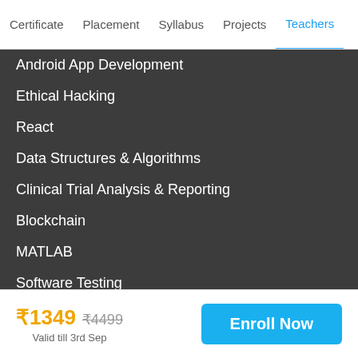Certificate  Placement  Syllabus  Projects  Teachers
Android App Development
Ethical Hacking
React
Data Structures & Algorithms
Clinical Trial Analysis & Reporting
Blockchain
MATLAB
Software Testing
Cloud computing with AWS
PLC Programming
Product Management
₹1349  ₹4499  Valid till 3rd Sep  Enroll Now